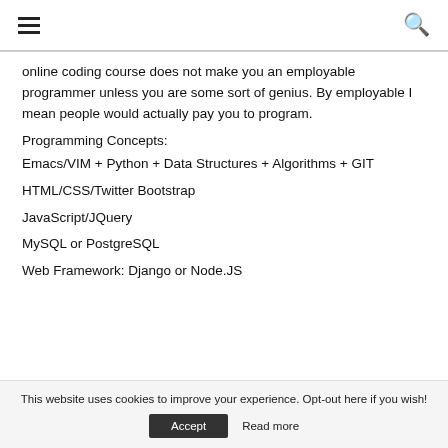☰ [menu icon] | 🔍 [search icon]
online coding course does not make you an employable programmer unless you are some sort of genius. By employable I mean people would actually pay you to program.
Programming Concepts:
Emacs/VIM + Python + Data Structures + Algorithms + GIT
HTML/CSS/Twitter Bootstrap
JavaScript/JQuery
MySQL or PostgreSQL
Web Framework: Django or Node.JS
This website uses cookies to improve your experience. Opt-out here if you wish! Accept  Read more